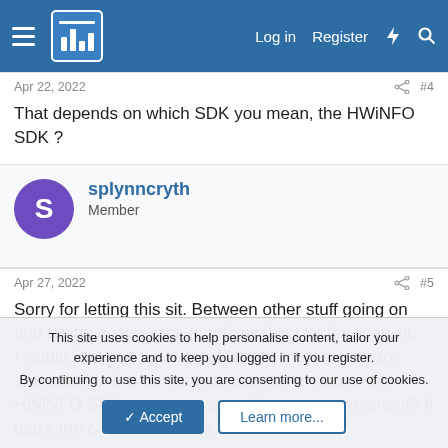HWiNFO Forum — Log in | Register
Apr 22, 2022   #4
That depends on which SDK you mean, the HWiNFO SDK ?
splynncryth
Member
Apr 27, 2022   #5
Sorry for letting this sit. Between other stuff going on and taking a step back to rethink this I let this idea sit.
I would like to at least consider the shared memory approach. Is this something that would require the HWiNFO SDK and some sort of licensing agreement? If that's the case, would it be better to ask this question to email to see if there...
This site uses cookies to help personalise content, tailor your experience and to keep you logged in if you register.
By continuing to use this site, you are consenting to our use of cookies.